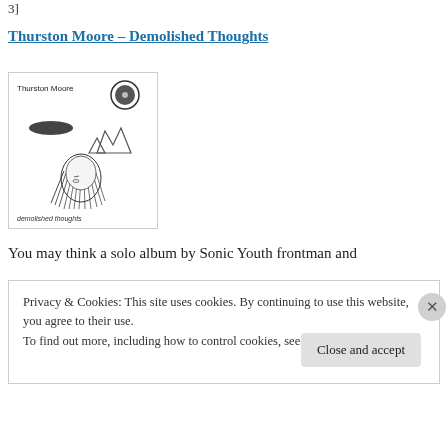3]
Thurston Moore – Demolished Thoughts
[Figure (illustration): Album cover for Thurston Moore – Demolished Thoughts: black and white sketch-style illustration showing the artist name at top left, a record/vinyl shape at top right, an oval shape in the middle left, rock formations in the middle right, and a detailed pencil drawing of a woman with long hair in the lower portion. Text 'demolished thoughts' at the bottom left.]
You may think a solo album by Sonic Youth frontman and
Privacy & Cookies: This site uses cookies. By continuing to use this website, you agree to their use.
To find out more, including how to control cookies, see here: Cookie Policy
Close and accept